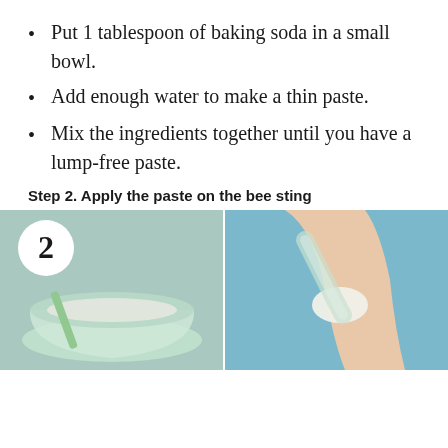Put 1 tablespoon of baking soda in a small bowl.
Add enough water to make a thin paste.
Mix the ingredients together until you have a lump-free paste.
Step 2. Apply the paste on the bee sting
[Figure (photo): Two-panel instructional photo showing: left panel has a number 2 circle badge and shows a bowl with baking soda paste mixture with a spatula; right panel shows application of white paste on a person's arm/skin using a clear spatula, blue background.]